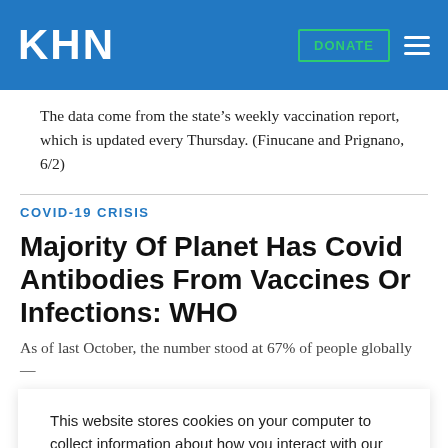KHN  DONATE
The data come from the state’s weekly vaccination report, which is updated every Thursday. (Finucane and Prignano, 6/2)
COVID-19 CRISIS
Majority Of Planet Has Covid Antibodies From Vaccines Or Infections: WHO
As of last October, the number stood at 67% of people globally —
This website stores cookies on your computer to collect information about how you interact with our website. We use this information in order to improve and customize your browsing experience and for analytics and metrics about our visitors both on this website and other media. To find out more about the cookies we use, see our Privacy Policy.
Accept